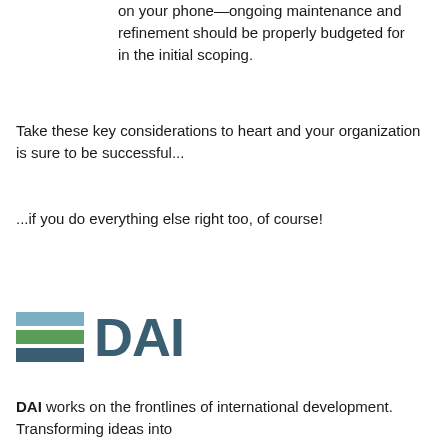on your phone—ongoing maintenance and refinement should be properly budgeted for in the initial scoping.
Take these key considerations to heart and your organization is sure to be successful...
...if you do everything else right too, of course!
[Figure (logo): DAI logo with three horizontal bars (blue, green, dark teal) and the text DAI in bold dark teal]
DAI works on the frontlines of international development. Transforming ideas into